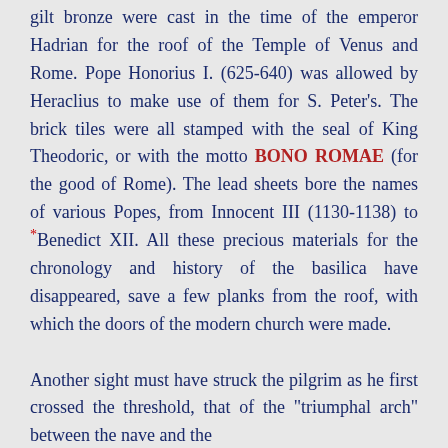gilt bronze were cast in the time of the emperor Hadrian for the roof of the Temple of Venus and Rome. Pope Honorius I. (625-640) was allowed by Heraclius to make use of them for S. Peter's. The brick tiles were all stamped with the seal of King Theodoric, or with the motto BONO ROMAE (for the good of Rome). The lead sheets bore the names of various Popes, from Innocent III (1130-1138) to *Benedict XII. All these precious materials for the chronology and history of the basilica have disappeared, save a few planks from the roof, with which the doors of the modern church were made.

Another sight must have struck the pilgrim as he first crossed the threshold, that of the "triumphal arch" between the nave and the